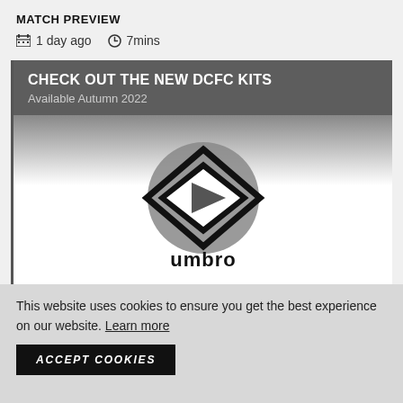MATCH PREVIEW
1 day ago  7mins
[Figure (screenshot): Video thumbnail showing Umbro logo with play button overlay. Header reads CHECK OUT THE NEW DCFC KITS, Available Autumn 2022. Background fades from dark grey to white.]
This website uses cookies to ensure you get the best experience on our website. Learn more
ACCEPT COOKIES